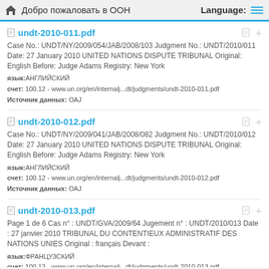Добро пожаловать в ООН   Language:
undt-2010-011.pdf
Case No.: UNDT/NY/2009/054/JAB/2008/103 Judgment No.: UNDT/2010/011 Date: 27 January 2010 UNITED NATIONS DISPUTE TRIBUNAL Original: English Before: Judge Adams Registry: New York
язык:АНГЛИЙСКИЙ
счет: 100.12 - www.un.org/en/internalj...dt/judgments/undt-2010-011.pdf
Источник данных: ОАЈ
undt-2010-012.pdf
Case No.: UNDT/NY/2009/041/JAB/2008/082 Judgment No.: UNDT/2010/012 Date: 27 January 2010 UNITED NATIONS DISPUTE TRIBUNAL Original: English Before: Judge Adams Registry: New York
язык:АНГЛИЙСКИЙ
счет: 100.12 - www.un.org/en/internalj...dt/judgments/undt-2010-012.pdf
Источник данных: ОАЈ
undt-2010-013.pdf
Page 1 de 6 Cas n° : UNDT/GVA/2009/64 Jugement n° : UNDT/2010/013 Date : 27 janvier 2010 TRIBUNAL DU CONTENTIEUX ADMINISTRATIF DES NATIONS UNIES Original : français Devant :
язык:ФРАНЦУЗСКИЙ
счет: 100.12 - www.un.org/en/internalj...dt/judgments/undt-2010-013.pdf